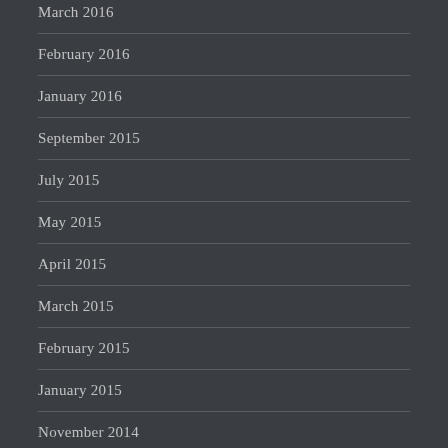March 2016
February 2016
January 2016
September 2015
July 2015
May 2015
April 2015
March 2015
February 2015
January 2015
November 2014
October 2014